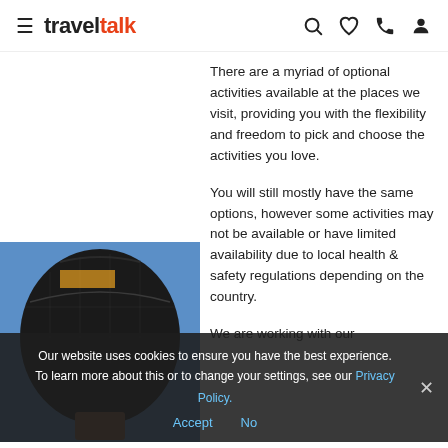traveltalk
There are a myriad of optional activities available at the places we visit, providing you with the flexibility and freedom to pick and choose the activities you love.
You will still mostly have the same options, however some activities may not be available or have limited availability due to local health & safety regulations depending on the country.
We are working with our
[Figure (photo): Photo of a dark hot air balloon with blue background visible at bottom-left of content area]
Our website uses cookies to ensure you have the best experience. To learn more about this or to change your settings, see our Privacy Policy.